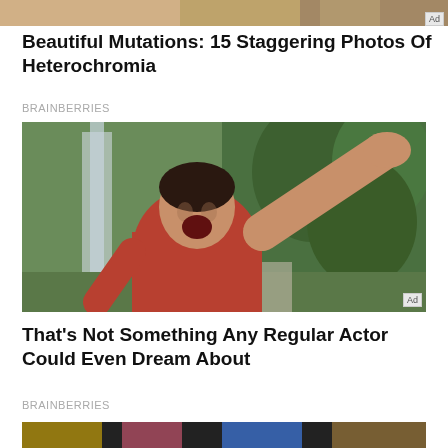[Figure (photo): Partial top strip of a photo showing people and an animal, cropped at the top of the page]
Beautiful Mutations: 15 Staggering Photos Of Heterochromia
BRAINBERRIES
[Figure (photo): Man in an orange/red t-shirt raising his hand and making an excited/surprised expression, with green topiary hedges and a fountain in the background. Ad badge in bottom-right corner.]
That's Not Something Any Regular Actor Could Even Dream About
BRAINBERRIES
[Figure (photo): Partial bottom strip showing a darkened image with colorful elements, cropped at the bottom of the page]